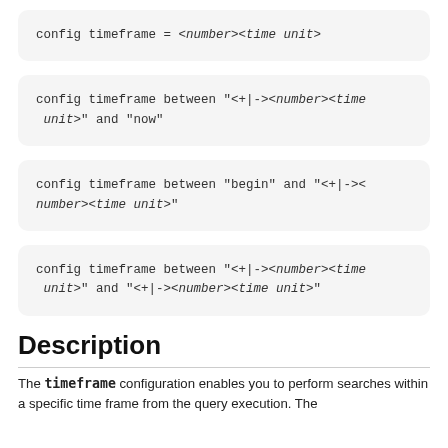Description
The timeframe configuration enables you to perform searches within a specific time frame from the query execution. The